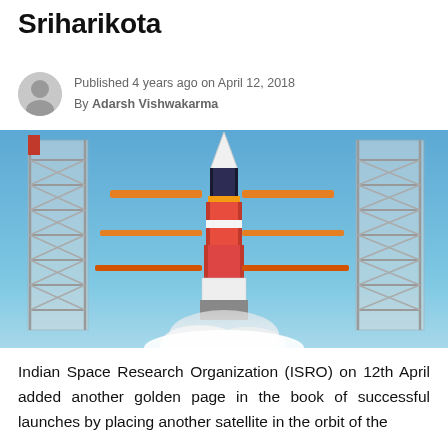Sriharikota
Published 4 years ago on April 12, 2018
By Adarsh Vishwakarma
[Figure (photo): ISRO rocket launch at Sriharikota — rocket on launch pad with two steel lattice towers on either side, white smoke billowing below, blue sky background]
Indian Space Research Organization (ISRO) on 12th April added another golden page in the book of successful launches by placing another satellite in the orbit of the